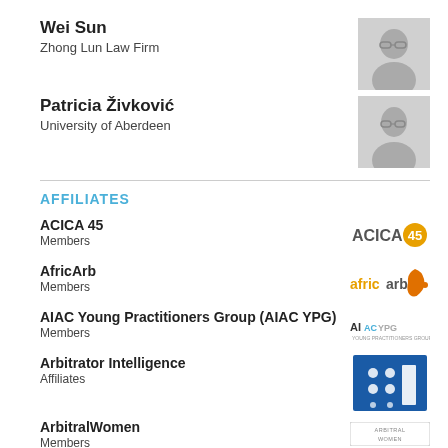Wei Sun
Zhong Lun Law Firm
[Figure (photo): Headshot photo of Wei Sun]
Patricia Živković
University of Aberdeen
[Figure (photo): Headshot photo of Patricia Živković]
AFFILIATES
ACICA 45
Members
[Figure (logo): ACICA 45 logo]
AfricArb
Members
[Figure (logo): AfricArb logo with orange Africa shape]
AIAC Young Practitioners Group (AIAC YPG)
Members
[Figure (logo): AIAC YPG logo]
Arbitrator Intelligence
Affiliates
[Figure (logo): Arbitrator Intelligence blue square logo with dots]
ArbitralWomen
Members
[Figure (logo): ArbitralWomen logo]
Asian International Arbitration Centre (AIAC)